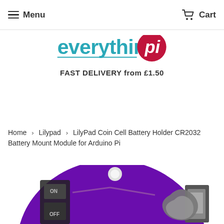Menu | Cart
[Figure (logo): Everything Pi logo — 'everything' in teal lowercase text with underline, 'pi' in white on a red/crimson circle]
FAST DELIVERY from £1.50
Home › Lilypad › LilyPad Coin Cell Battery Holder CR2032 Battery Mount Module for Arduino Pi
[Figure (photo): Close-up photo of a LilyPad Coin Cell Battery Holder module — circular purple PCB with a silver coin cell battery holder and ON/OFF switch]